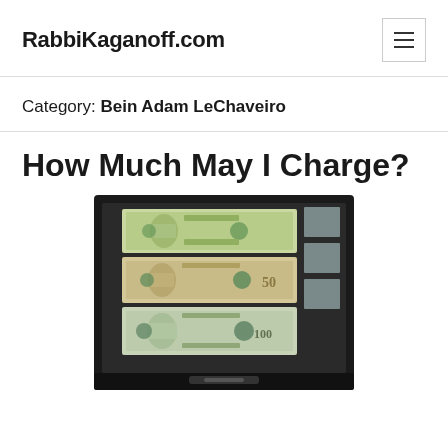RabbiKaganoff.com
Category: Bein Adam LeChaveiro
How Much May I Charge?
[Figure (photo): Photo of a cash drawer containing three US dollar bills (a $20, a $50, and a $100) stacked in a black drawer tray]